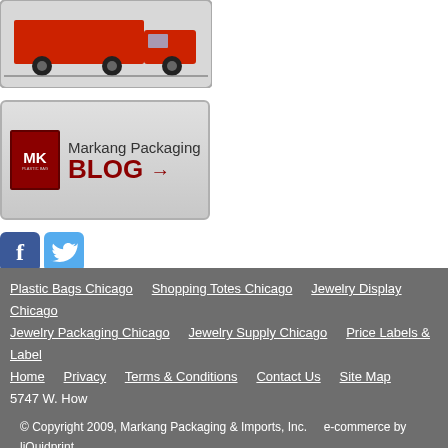[Figure (photo): Red delivery truck photo in a rounded rectangle box]
[Figure (illustration): Markang Packaging BLOG banner with MK logo and arrow]
[Figure (logo): Facebook icon (blue f logo)]
[Figure (logo): Twitter icon (blue bird logo)]
[Figure (logo): Certified WBENC Women's Business Enterprise badge]
Plastic Bags Chicago  Shopping Totes Chicago  Jewelry Display Chicago  Jewelry Packaging Chicago  Jewelry Supply Chicago  Price Labels & Labels  Home  Privacy  Terms & Conditions  Contact Us  Site Map  5747 W. How  © Copyright 2009, Markang Packaging & Imports, Inc.    e-commerce by liQuidprint